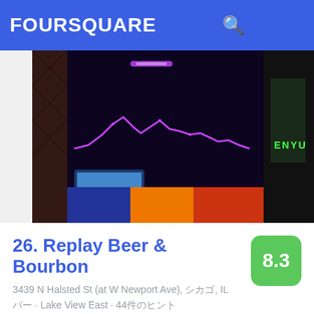FOURSQUARE
[Figure (photo): Arcade game screen showing a purple waveform/snake game on a dark display, with a smaller TV screen visible and colorful arcade cabinet panels]
26. Replay Beer & Bourbon
8.3
3439 N Halsted St (at W Newport Ave), シカゴ, IL
バー · Lake View East · 44件のヒント
[Figure (photo): Interior of a bar with dark blue walls, a sign reading Extra Credits visible, decorative elements on the wall]